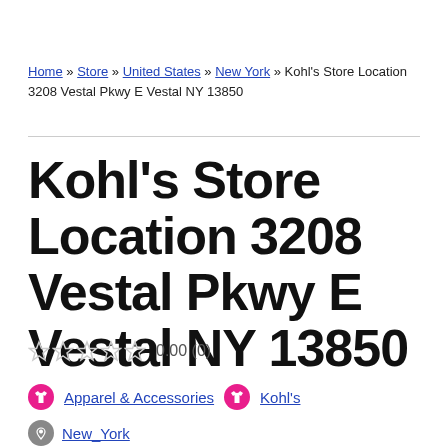Home » Store » United States » New York » Kohl's Store Location 3208 Vestal Pkwy E Vestal NY 13850
Kohl's Store Location 3208 Vestal Pkwy E Vestal NY 13850
0.00 (0)
Apparel & Accessories  Kohl's  New_York